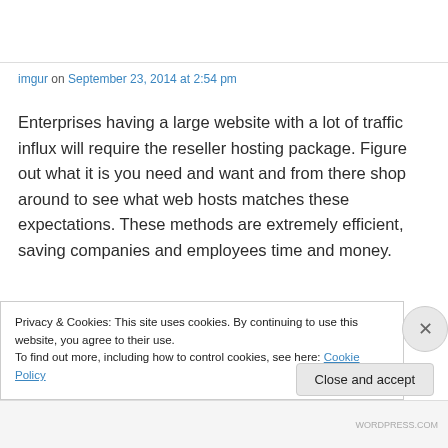imgur on September 23, 2014 at 2:54 pm
Enterprises having a large website with a lot of traffic influx will require the reseller hosting package. Figure out what it is you need and want and from there shop around to see what web hosts matches these expectations. These methods are extremely efficient, saving companies and employees time and money.
Privacy & Cookies: This site uses cookies. By continuing to use this website, you agree to their use. To find out more, including how to control cookies, see here: Cookie Policy